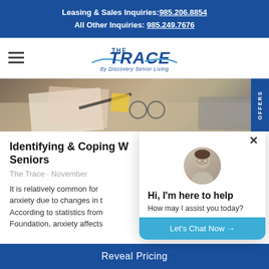Leasing & Sales Inquiries: 985.206.8854  All Other Inquiries: 985.249.7676
[Figure (logo): The Trace by Discovery Senior Living logo with swoosh graphic]
[Figure (photo): Hero banner image showing office desk with papers, glasses, and keyboard]
Identifying & Coping W... Seniors
The Trace · November...
It is relatively common for... anxiety due to changes in t... According to statistics from... Foundation, anxiety affects...
[Figure (screenshot): Chat popup widget with avatar photo of young man with glasses, greeting text 'Hi, I'm here to help', message 'How may I assist you today?', and blue CTA button 'Let's Chat Now →']
Reveal Pricing